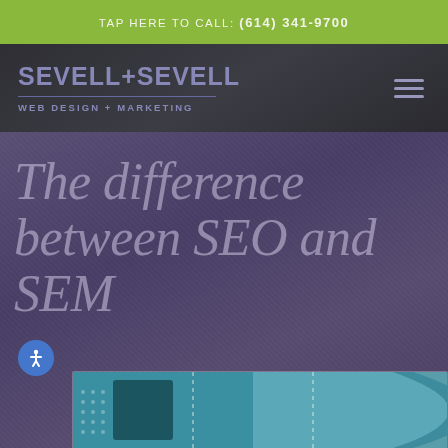TAP HERE TO CALL: (614) 341-9700
[Figure (logo): Sevell + Sevell Web Design + Marketing logo with hamburger menu icon]
The difference between SEO and SEM
[Figure (infographic): Partial infographic preview showing SEO vs SEM comparison with teal/blue background]